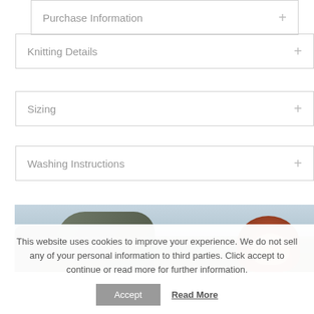Purchase Information +
Knitting Details +
Sizing +
Washing Instructions +
[Figure (photo): Outdoor photo of a red-haired woman with green hills and mountains in the background under a pale blue sky.]
This website uses cookies to improve your experience. We do not sell any of your personal information to third parties. Click accept to continue or read more for further information.